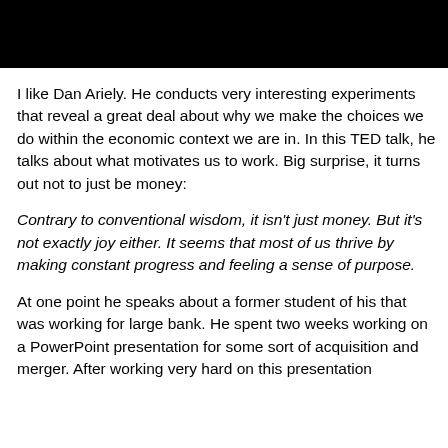[Figure (photo): Black rectangular image/video thumbnail at the top of the page]
I like Dan Ariely. He conducts very interesting experiments that reveal a great deal about why we make the choices we do within the economic context we are in. In this TED talk, he talks about what motivates us to work. Big surprise, it turns out not to just be money:
Contrary to conventional wisdom, it isn't just money. But it's not exactly joy either. It seems that most of us thrive by making constant progress and feeling a sense of purpose.
At one point he speaks about a former student of his that was working for large bank. He spent two weeks working on a PowerPoint presentation for some sort of acquisition and merger. After working very hard on this presentation